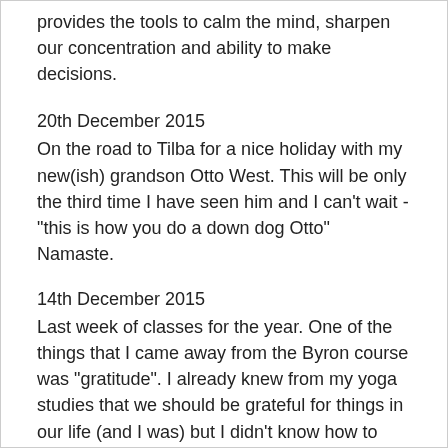provides the tools to calm the mind, sharpen our concentration and ability to make decisions.
20th December 2015
On the road to Tilba for a nice holiday with my new(ish) grandson Otto West. This will be only the third time I have seen him and I can't wait -"this is how you do a down dog Otto" Namaste.
14th December 2015
Last week of classes for the year. One of the things that I came away from the Byron course was "gratitude". I already knew from my yoga studies that we should be grateful for things in our life (and I was) but I didn't know how to integrate it into daily living. It's really simple. I have incorporated it into my classes, before I go to sleep at night and when I wake up. A few seconds to reflect on what is truly important to you and that you can be grateful for. Try it, for something so simple it really is quite powerful, adding to your general sense of well being..
30th November 2015
Back in the "real" world after an eight day meditation and